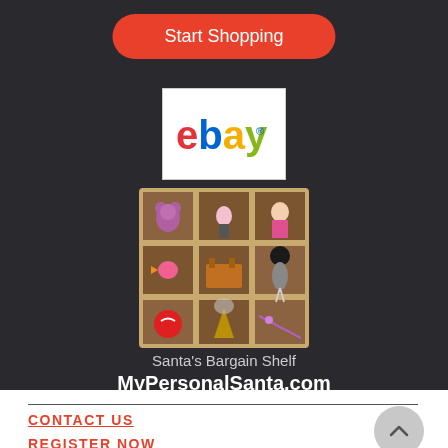[Figure (other): Start Shopping button - red rounded rectangle with white text]
[Figure (logo): eBay logo on white background]
[Figure (photo): Santa's Bargain Shelf - 3x3 grid of toy images including teddy bears, dolls, and animals]
Santa's Bargain Shelf
MyPersonalSanta.com
CONTACT US
REGISTER NOW
[Figure (other): Back to top chevron button - circular grey button with upward arrow]
[Figure (other): Footer navigation bar with Phone (green phone icon), Email (pink envelope icon), Facebook (blue Facebook icon)]